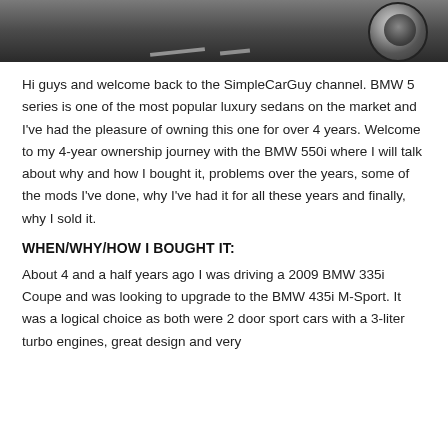[Figure (photo): Partial view of a BMW car on a road, showing the bottom portion including a wheel and road surface, dark/grey tones]
Hi guys and welcome back to the SimpleCarGuy channel. BMW 5 series is one of the most popular luxury sedans on the market and I've had the pleasure of owning this one for over 4 years. Welcome to my 4-year ownership journey with the BMW 550i where I will talk about why and how I bought it, problems over the years, some of the mods I've done, why I've had it for all these years and finally, why I sold it.
WHEN/WHY/HOW I BOUGHT IT:
About 4 and a half years ago I was driving a 2009 BMW 335i Coupe and was looking to upgrade to the BMW 435i M-Sport. It was a logical choice as both were 2 door sport cars with a 3-liter turbo engines, great design and very